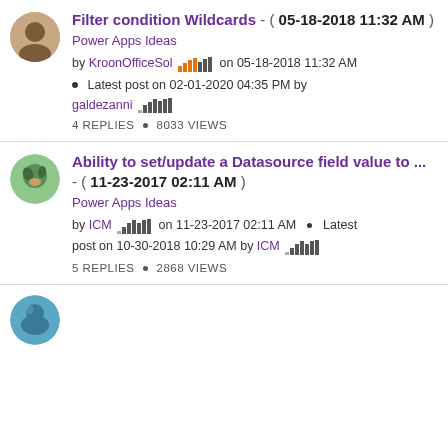Filter condition Wildcards - ( 05-18-2018 11:32 AM ) Power Apps Ideas by KroonOfficeSol on 05-18-2018 11:32 AM • Latest post on 02-01-2020 04:35 PM by galdezanni 4 REPLIES • 8033 VIEWS
Ability to set/update a Datasource field value to ... - ( 11-23-2017 02:11 AM ) Power Apps Ideas by ICM on 11-23-2017 02:11 AM • Latest post on 10-30-2018 10:29 AM by ICM 5 REPLIES • 2868 VIEWS